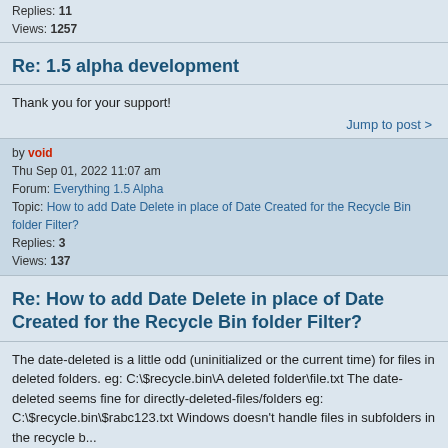Replies: 11
Views: 1257
Re: 1.5 alpha development
Thank you for your support!
Jump to post >
by void
Thu Sep 01, 2022 11:07 am
Forum: Everything 1.5 Alpha
Topic: How to add Date Delete in place of Date Created for the Recycle Bin folder Filter?
Replies: 3
Views: 137
Re: How to add Date Delete in place of Date Created for the Recycle Bin folder Filter?
The date-deleted is a little odd (uninitialized or the current time) for files in deleted folders. eg: C:\$recycle.bin\A deleted folder\file.txt The date-deleted seems fine for directly-deleted-files/folders eg: C:\$recycle.bin\$rabc123.txt Windows doesn't handle files in subfolders in the recycle b...
Jump to post >
by void
Thu Sep 01, 2022 10:59 am
Forum: Off-topic discussion
Topic: add item to context menu inside recycle bin
Replies: 3
Views: 90